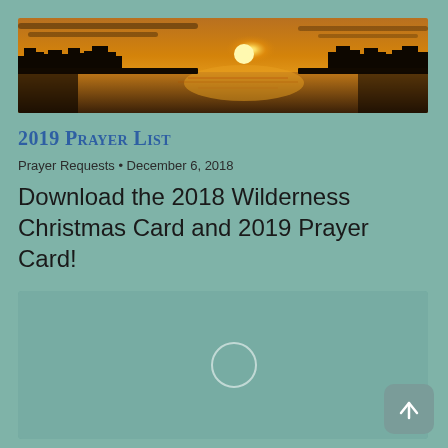[Figure (photo): Panoramic sunset photo over a lake with silhouetted trees and golden reflections on the water]
2019 Prayer List
Prayer Requests • December 6, 2018
Download the 2018 Wilderness Christmas Card and 2019 Prayer Card!
[Figure (screenshot): Embedded content box with a loading spinner circle in the center]